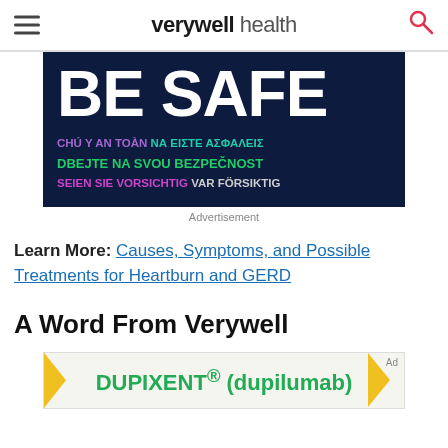verywell health
[Figure (illustration): Dark navy blue advertisement banner with large white bold text 'BE SAFE' and multilingual safety messages in various colors: Vietnamese in purple, Greek in cyan, Czech in green, German/Norwegian in purple and gray]
Advertisement
Learn More: Causes, Symptoms, and Possible Treatments for Heartburn and GERD
A Word From Verywell
[Figure (illustration): Advertisement banner for DUPIXENT (dupilumab) with green text on light background with yellow arrow accents]